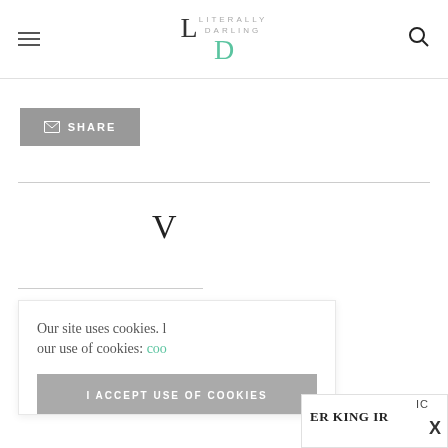Literally Darling — website header with hamburger menu and search icon
[Figure (logo): Literally Darling logo with stylized L and D letters]
[Figure (other): Gray SHARE button with envelope icon]
V
Our site uses cookies. our use of cookies: coo
I ACCEPT USE OF COOKIES
ER KING IR